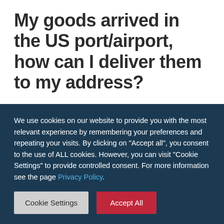My goods arrived in the US port/airport, how can I deliver them to my address?
If the transfer contract established with your supplier indicates the incoterm is DAP or DAT, you shouldn't worry about the delivery at the precised address. For a CFR or CIF, it is necessary to pass through a freight forwarder as your goods can enter through
We use cookies on our website to provide you with the most relevant experience by remembering your preferences and repeating your visits. By clicking on "Accept all", you consent to the use of ALL cookies. However, you can visit "Cookie Settings" to provide controlled consent. For more information see the page Privacy Policy.